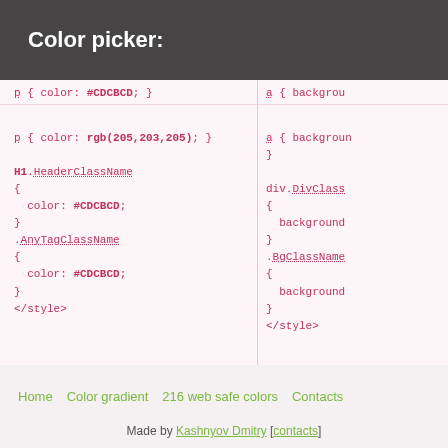Color picker:
p { color: #CDCBCD; }

p { color: rgb(205,203,205); }

H1.HeaderClassName
{
  color: #CDCBCD;
}
.AnyTagClassName
{
  color: #CDCBCD;
}
</style>
a { background...
}
a { background...
}
div.DivClass...
{
  background...
}
.BgClassName...
{
  background...
}
</style>
Home   Color gradient   216 web safe colors   Contacts
Made by Kashnyov Dmitry [contacts]